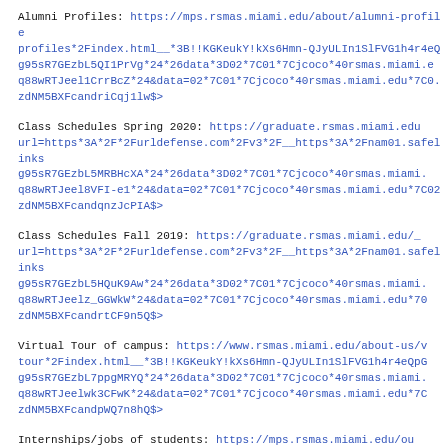Alumni Profiles: https://mps.rsmas.miami.edu/about/alumni-profiles*2Findex.html__*3B!!KGKeukY!kXs6Hmn-QJyULIn1SlFVG1h4r4eQpg95sR7GEzbL5QI1PrVg*24*26data*3D02*7C01*7Cjcoco*40rsmas.miami.eq88wRTJeel1CrrBcZ*24&data=02*7C01*7Cjcoco*40rsmas.miami.edu*7C0zdNM5BXFcandriCqj1lw$>
Class Schedules Spring 2020: https://graduate.rsmas.miami.eduurl=https*3A*2F*2Furldefense.com*2Fv3*2F__https*3A*2Fnam01.safelinksg95sR7GEzbL5MRBHcXA*24*26data*3D02*7C01*7Cjcoco*40rsmas.miamiq88wRTJeel8VFI-e1*24&data=02*7C01*7Cjcoco*40rsmas.miami.edu*7C02zdNM5BXFcandqnzJcPIA$>
Class Schedules Fall 2019: https://graduate.rsmas.miami.edu/_url=https*3A*2F*2Furldefense.com*2Fv3*2F__https*3A*2Fnam01.safelinksg95sR7GEzbL5HQuK9Aw*24*26data*3D02*7C01*7Cjcoco*40rsmas.miamiq88wRTJeelz_GGWkW*24&data=02*7C01*7Cjcoco*40rsmas.miami.edu*70zdNM5BXFcandrtCF9n5Q$>
Virtual Tour of campus: https://www.rsmas.miami.edu/about-us/vtour*2Findex.html__*3B!!KGKeukY!kXs6Hmn-QJyULIn1SlFVG1h4r4eQpGg95sR7GEzbL7ppgMRYQ*24*26data*3D02*7C01*7Cjcoco*40rsmas.miami.q88wRTJeelwk3CFwK*24&data=02*7C01*7Cjcoco*40rsmas.miami.edu*7CzdNM5BXFcandpWQ7n8hQ$>
Internships/jobs of students: https://mps.rsmas.miami.edu/oustudents*2Finternships-and-current-jobs*2Findex.html__*3B!!KGKeukY!kg95sR7GEzbL6J7laKNA*24*26data*3D02*7C01*7Cjcoco*40rsmas.miami.eq88wRTJeelzahlBHl*24&data=02*7C01*7Cjcoco*40rsmas.miami.edu*7C02zdNM5BXFcandqUg0EbeQ$>